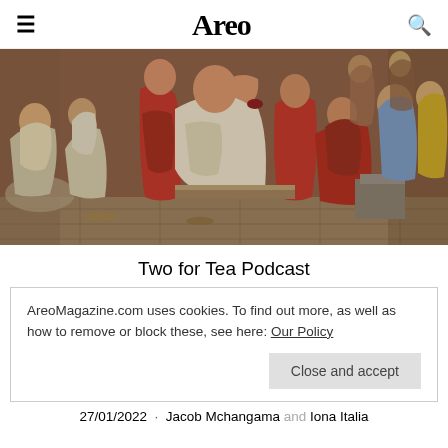Areo
[Figure (illustration): Classical painting depicting the Death of Socrates — a white-robed elderly man reclines on a bed surrounded by grieving figures in red and grey robes in an ancient Greek setting. One figure in red reaches toward Socrates holding a cup.]
Two for Tea Podcast
AreoMagazine.com uses cookies. To find out more, as well as how to remove or block these, see here: Our Policy
Close and accept
27/01/2022  ·  Jacob Mchangama and Iona Italia